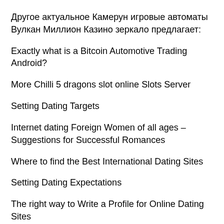Другое актуальное Камерун игровые автоматы Вулкан Миллион Казино зеркало предлагает:
Exactly what is a Bitcoin Automotive Trading Android?
More Chilli 5 dragons slot online Slots Server
Setting Dating Targets
Internet dating Foreign Women of all ages – Suggestions for Successful Romances
Where to find the Best International Dating Sites
Setting Dating Expectations
The right way to Write a Profile for Online Dating Sites
How to get a Wife Online
How to locate the Best International Dating Sites